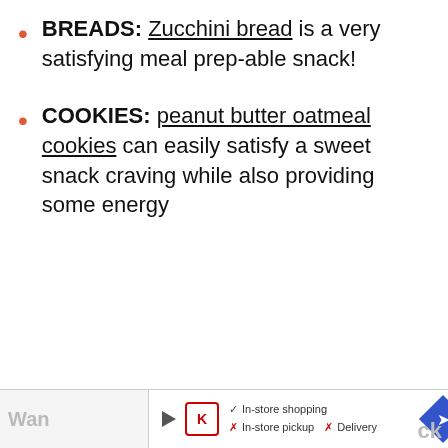BREADS: Zucchini bread is a very satisfying meal prep-able snack!
COOKIES: peanut butter oatmeal cookies can easily satisfy a sweet snack craving while also providing some energy
In-store shopping  In-store pickup  Delivery